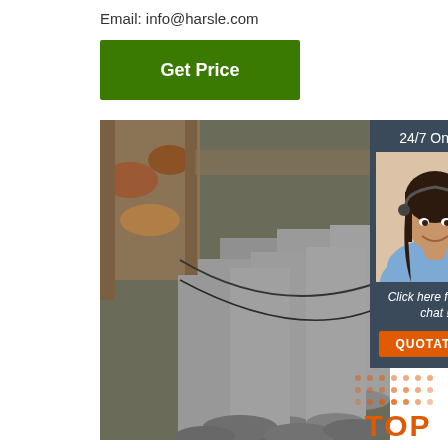Email: info@harsle.com
Get Price
[Figure (photo): Stack of grey steel round bars/rods piled together in an industrial warehouse setting, with some rusty pipes visible in the background.]
24/7 Online
[Figure (photo): Customer service agent woman with headset, smiling, in a sidebar widget.]
Click here for free chat !
QUOTATION
[Figure (logo): TOP badge/logo in orange with dot pattern background, bottom right corner.]